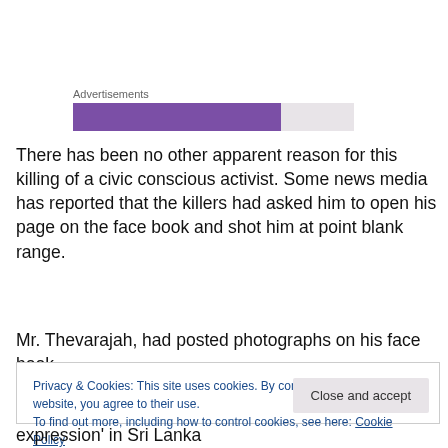[Figure (other): Advertisements bar with purple and gray sections]
There has been no other apparent reason for this killing of a civic conscious activist. Some news media has reported that the killers had asked him to open his page on the face book and shot him at point blank range.
Mr. Thevarajah, had posted photographs on his face book
Privacy & Cookies: This site uses cookies. By continuing to use this website, you agree to their use.
To find out more, including how to control cookies, see here: Cookie Policy
expression' in Sri Lanka